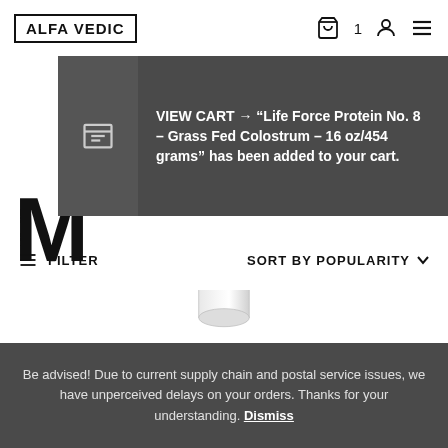ALFA VEDIC
VIEW CART → "Life Force Protein No. 8 – Grass Fed Colostrum – 16 oz/454 grams" has been added to your cart.
M
FILTER
SORT BY POPULARITY
[Figure (photo): Clear glass or plastic dropper/capsule bottle product image on white background]
Be advised! Due to current supply chain and postal service issues, we have unperceived delays on your orders. Thanks for your understanding. Dismiss